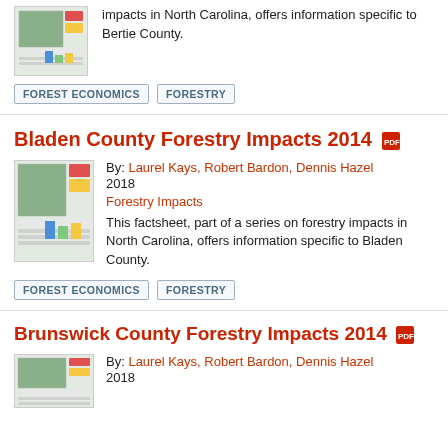impacts in North Carolina, offers information specific to Bertie County.
FOREST ECONOMICS
FORESTRY
Bladen County Forestry Impacts 2014
By: Laurel Kays, Robert Bardon, Dennis Hazel 2018 Forestry Impacts
This factsheet, part of a series on forestry impacts in North Carolina, offers information specific to Bladen County.
FOREST ECONOMICS
FORESTRY
Brunswick County Forestry Impacts 2014
By: Laurel Kays, Robert Bardon, Dennis Hazel 2018